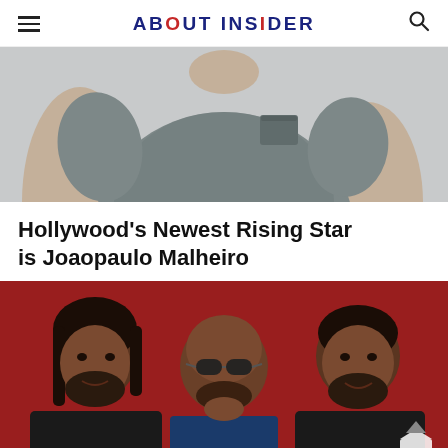ABOUT INSIDER
[Figure (photo): Partial photo of a person wearing a grey t-shirt, cropped to show the torso and arms against a light background]
Hollywood's Newest Rising Star is Joaopaulo Malheiro
[Figure (photo): Three men posing together in front of a red background; left man has long dark hair and beard, center man is bald with sunglasses, right man has short dark hair and beard]